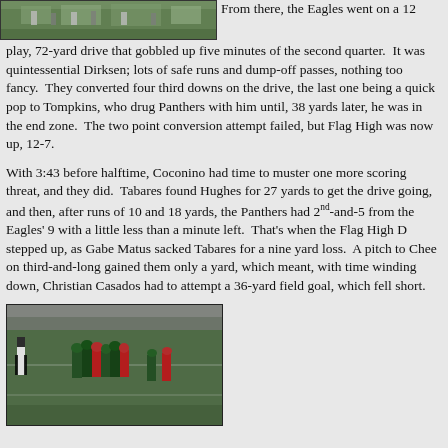[Figure (photo): Football game photo at top of page showing players on field]
From there, the Eagles went on a 12 play, 72-yard drive that gobbled up five minutes of the second quarter.  It was quintessential Dirksen; lots of safe runs and dump-off passes, nothing too fancy.  They converted four third downs on the drive, the last one being a quick pop to Tompkins, who drug Panthers with him until, 38 yards later, he was in the end zone.  The two point conversion attempt failed, but Flag High was now up, 12-7.
With 3:43 before halftime, Coconino had time to muster one more scoring threat, and they did.  Tabares found Hughes for 27 yards to get the drive going, and then, after runs of 10 and 18 yards, the Panthers had 2nd-and-5 from the Eagles' 9 with a little less than a minute left.  That's when the Flag High D stepped up, as Gabe Matus sacked Tabares for a nine yard loss.  A pitch to Chee on third-and-long gained them only a yard, which meant, with time winding down, Christian Casados had to attempt a 36-yard field goal, which fell short.
[Figure (photo): Football game photo at bottom of page showing players in action on field]